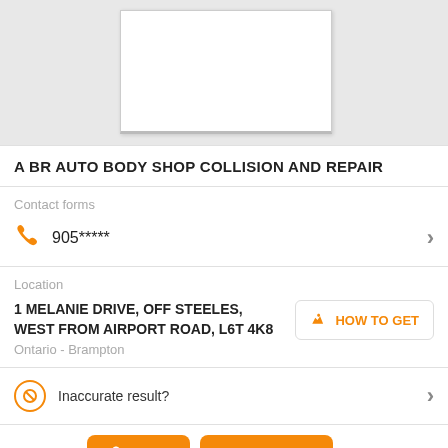[Figure (screenshot): Map area with a white card overlay on gray background]
A BR AUTO BODY SHOP COLLISION AND REPAIR
Contact forms
905*****
Location
1 MELANIE DRIVE, OFF STEELES, WEST FROM AIRPORT ROAD, L6T 4K8
Ontario - Brampton
HOW TO GET
Inaccurate result?
Categories
SAVE
CONTACT
Repairs